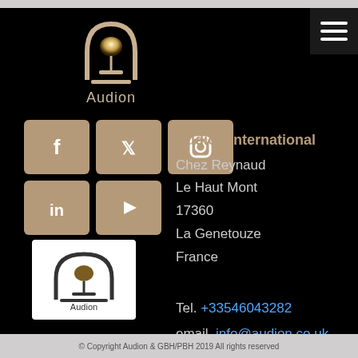[Figure (logo): Audion arch logo with text 'Audion' below, white on black background at top center]
[Figure (infographic): Social media icons: Facebook, Twitter, LinkedIn, YouTube — tan/brown square tiles]
[Figure (logo): Audion arch logo on white background, smaller version in lower left]
Audion International
Chez Reynaud
Le Haut Mont
17360
La Genetouze
France
Tel. +33546043282
email. info@audion.co.uk
© Copyright Audion & GBH/PBH 2019 All rights reserved